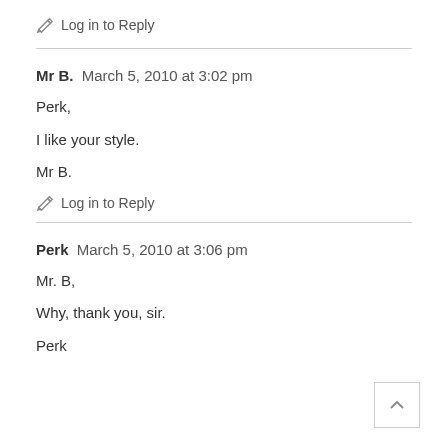Log in to Reply
Mr B.  March 5, 2010 at 3:02 pm
Perk,
I like your style.
Mr B.
Log in to Reply
Perk  March 5, 2010 at 3:06 pm
Mr. B,
Why, thank you, sir.
Perk